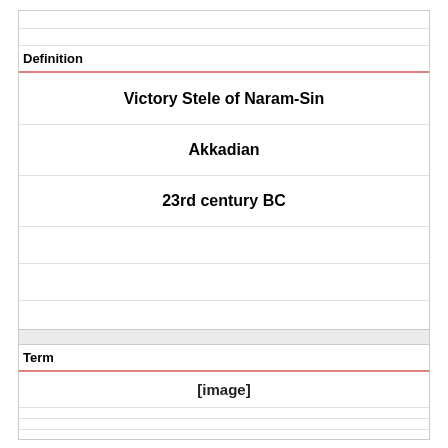Definition
Victory Stele of Naram-Sin
Akkadian
23rd century BC
Term
[Figure (other): [image] placeholder for an image in the Term section]